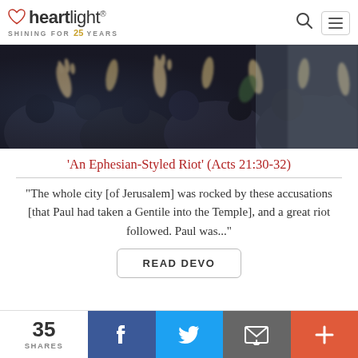[Figure (logo): Heartlight logo with heart icon and 'SHINING FOR 25 YEARS' tagline]
[Figure (photo): Crowd of people with hands raised, blurred motion, dark tones]
'An Ephesian-Styled Riot' (Acts 21:30-32)
"The whole city [of Jerusalem] was rocked by these accusations [that Paul had taken a Gentile into the Temple], and a great riot followed. Paul was..."
READ DEVO
35 SHARES